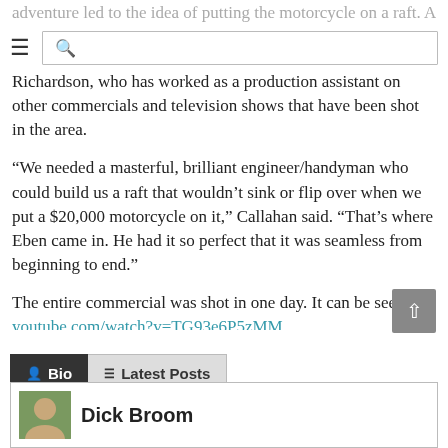adventure led to the idea of putting the motorcycle on a raft. And that led to...
Richardson, who has worked as a production assistant on other commercials and television shows that have been shot in the area.
“We needed a masterful, brilliant engineer/handyman who could build us a raft that wouldn’t sink or flip over when we put a $20,000 motorcycle on it,” Callahan said. “That’s where Eben came in. He had it so perfect that it was seamless from beginning to end.”
The entire commercial was shot in one day. It can be seen at youtube.com/watch?v=TG93e6P5zMM.
Bio | Latest Posts
Dick Broom